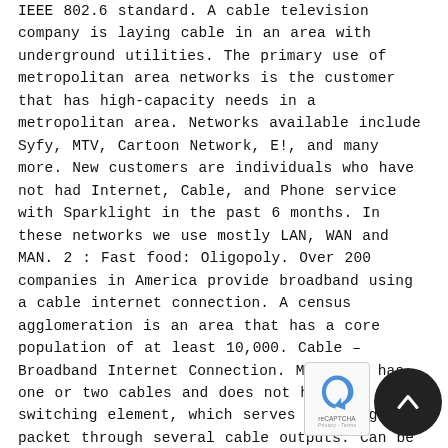IEEE 802.6 standard. A cable television company is laying cable in an area with underground utilities. The primary use of metropolitan area networks is the customer that has high-capacity needs in a metropolitan area. Networks available include Syfy, MTV, Cartoon Network, E!, and many more. New customers are individuals who have not had Internet, Cable, and Phone service with Sparklight in the past 6 months. In these networks we use mostly LAN, WAN and MAN. 2 : Fast food: Oligopoly. Over 200 companies in America provide broadband using a cable internet connection. A census agglomeration is an area that has a core population of at least 10,000. Cable – Broadband Internet Connection. MAN only has one or two cables and does not have a switching element, which serves to manage packet through several cable outputs. Can be used as a means of promotion that is appropriate
[Figure (other): reCAPTCHA logo with blue arrow and terms text, plus dark circular button with upward chevron arrow]